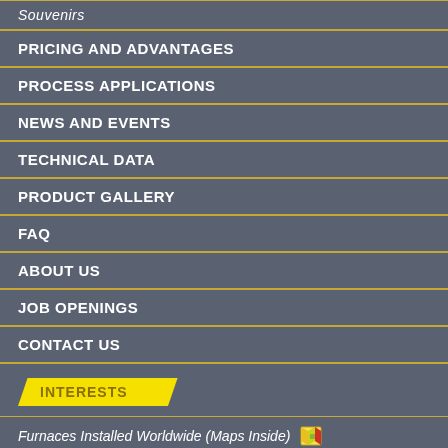Souvenirs
PRICING AND ADVANTAGES
PROCESS APPLICATIONS
NEWS AND EVENTS
TECHNICAL DATA
PRODUCT GALLERY
FAQ
ABOUT US
JOB OPENINGS
CONTACT US
INTERESTS
Furnaces Installed Worldwide (Maps Inside)
Customer Feedbacks
Dye Sensitized Solar Cells
Our Blog
Toll Firing